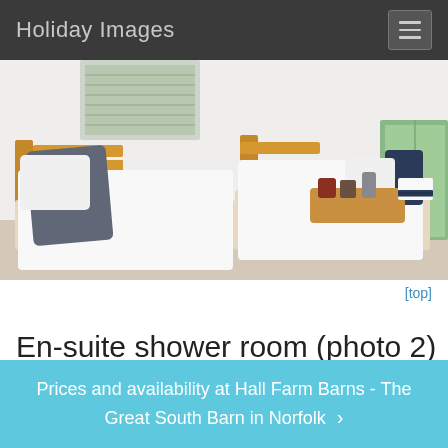Holiday Images
[Figure (photo): Bedroom with two single beds made up with white bedding and dark grey pillows; a wooden breakfast tray sits on one bed; wooden headboards and window with green view to the right]
[top]
En-suite shower room (photo 2)
[Figure (photo): Partial view of an en-suite shower room with white tiles and a shower fitting]
Prices and availability at Hall Farm Barns - The Great South Barn in Norfolk ›